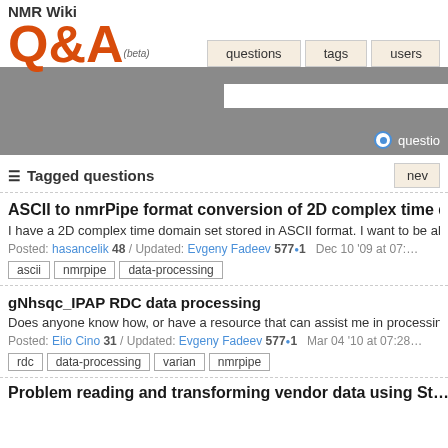NMR Wiki Q&A (beta) — questions | tags | users
Tagged questions
ASCII to nmrPipe format conversion of 2D complex time domain...
I have a 2D complex time domain set stored in ASCII format. I want to be able to p...
Posted: hasancelik 48 / Updated: Evgeny Fadeev 577•1   Dec 10 '09 at 07:...
ascii | nmrpipe | data-processing
gNhsqc_IPAP RDC data processing
Does anyone know how, or have a resource that can assist me in processing data...
Posted: Elio Cino 31 / Updated: Evgeny Fadeev 577•1   Mar 04 '10 at 07:28
rdc | data-processing | varian | nmrpipe
Problem reading and transforming vendor data using St...(/Ch...